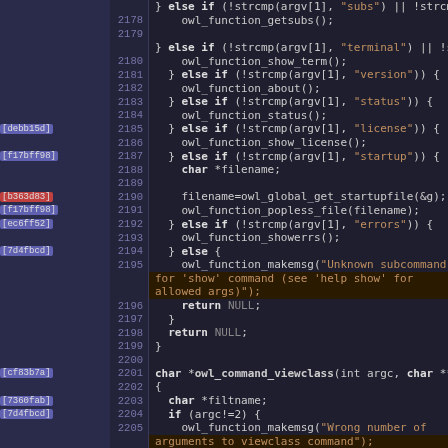[Figure (screenshot): Source code viewer showing C code lines 2178-2205 with git blame annotations. The left gutter shows commit hashes, the center shows line numbers, and the right shows syntax-highlighted C code.]